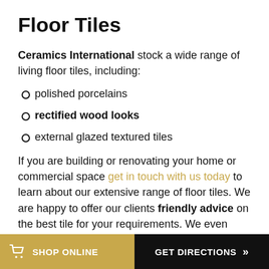Floor Tiles
Ceramics International stock a wide range of living floor tiles, including:
polished porcelains
rectified wood looks
external glazed textured tiles
If you are building or renovating your home or commercial space get in touch with us today to learn about our extensive range of floor tiles. We are happy to offer our clients friendly advice on the best tile for your requirements. We even work in partnership with professional tile installers and can
SHOP ONLINE | GET DIRECTIONS >>